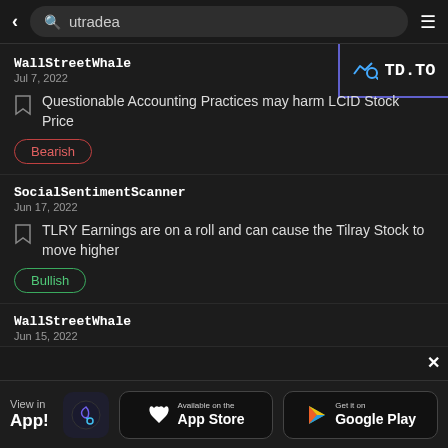utradea
WallStreetWhale
Jul 7, 2022
Questionable Accounting Practices may harm LCID Stock Price
Bearish
SocialSentimentScanner
Jun 17, 2022
TLRY Earnings are on a roll and can cause the Tilray Stock to move higher
Bullish
WallStreetWhale
Jun 15, 2022
View in App! | Available on the App Store | Get it on Google Play